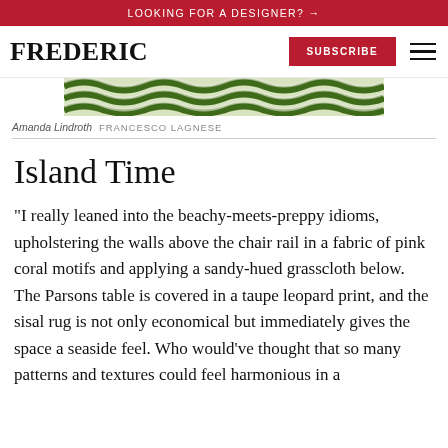LOOKING FOR A DESIGNER? →
FREDERIC  SUBSCRIBE
[Figure (photo): Partial view of a decorative rug with green and white chevron or wavy pattern, shown from above.]
Amanda Lindroth  FRANCESCO LAGNESE
Island Time
“I really leaned into the beachy-meets-preppy idioms, upholstering the walls above the chair rail in a fabric of pink coral motifs and applying a sandy-hued grasscloth below. The Parsons table is covered in a taupe leopard print, and the sisal rug is not only economical but immediately gives the space a seaside feel. Who would’ve thought that so many patterns and textures could feel harmonious in a